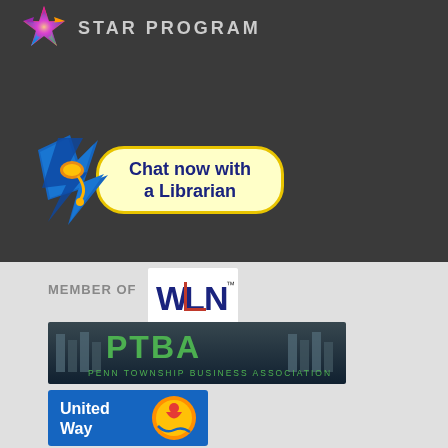[Figure (logo): Star Program logo with colorful star icon and text 'STAR PROGRAM' in gray letters on dark background]
[Figure (logo): Chat now with a Librarian badge - blue lightning bolt person icon with yellow speech bubble button saying 'Chat now with a Librarian']
MEMBER OF
[Figure (logo): WLN - Westmoreland Library Network logo]
[Figure (logo): PTBA - Penn Township Business Association banner logo with dark blue gradient background and green PTBA letters]
[Figure (logo): United Way logo with blue background, orange/yellow circle with person figure]